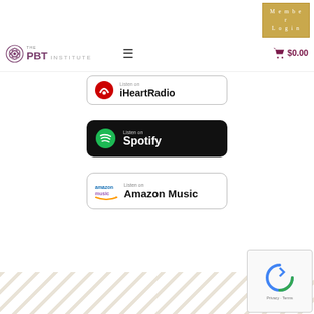[Figure (logo): PBT Institute logo with decorative circular emblem and text 'THE PBT INSTITUTE']
[Figure (screenshot): Member Login button in golden/tan color with serif text]
[Figure (infographic): iHeartRadio 'Listen on' badge with red iHeart logo]
[Figure (infographic): Spotify 'Listen on' black badge with green Spotify logo]
[Figure (infographic): Amazon Music 'Listen on' badge with Amazon Music logo in blue/purple]
[Figure (other): reCAPTCHA Privacy - Terms widget in bottom right corner]